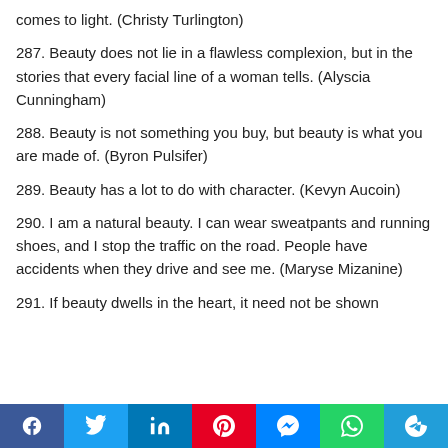comes to light. (Christy Turlington)
287. Beauty does not lie in a flawless complexion, but in the stories that every facial line of a woman tells. (Alyscia Cunningham)
288. Beauty is not something you buy, but beauty is what you are made of. (Byron Pulsifer)
289. Beauty has a lot to do with character. (Kevyn Aucoin)
290. I am a natural beauty. I can wear sweatpants and running shoes, and I stop the traffic on the road. People have accidents when they drive and see me. (Maryse Mizanine)
291. If beauty dwells in the heart, it need not be shown